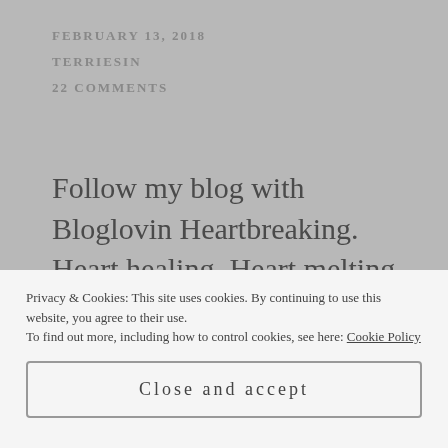FEBRUARY 13, 2018
TERRIESIN
22 COMMENTS
Follow my blog with Bloglovin Heartbreaking. Heart healing. Heart melting. The Smallest Part, a contemporary friends-to-lovers romance is now available on all platforms. The Smallest Part, a contemporary friends-to-
Privacy & Cookies: This site uses cookies. By continuing to use this website, you agree to their use.
To find out more, including how to control cookies, see here: Cookie Policy
Close and accept
ngo at this